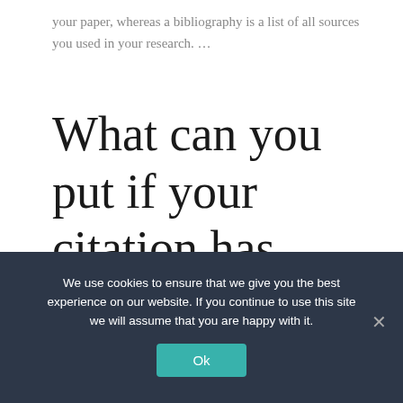your paper, whereas a bibliography is a list of all sources you used in your research. …
What can you put if your citation has more than three authors?
If there are three or more authors, list only
We use cookies to ensure that we give you the best experience on our website. If you continue to use this site we will assume that you are happy with it.